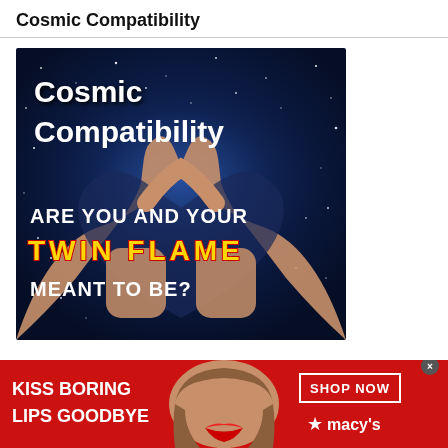Cosmic Compatibility
[Figure (illustration): Promotional image with galaxy/space background, two hands forming a heart shape, white bold text reading 'Cosmic Compatibility', 'ARE YOU AND YOUR', flame-styled yellow/red text 'TWIN FLAME', and white bold text 'MEANT TO BE?']
[Figure (photo): Advertisement banner with red background showing a woman's face with red lips, text 'KISS BORING LIPS GOODBYE', a 'SHOP NOW' button, and Macy's star logo]